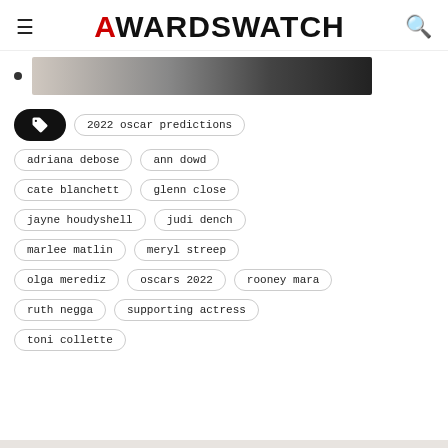AWARDSWATCH
[Figure (photo): Partial cropped photo strip showing a person, dark background]
2022 oscar predictions
adriana debose
ann dowd
cate blanchett
glenn close
jayne houdyshell
judi dench
marlee matlin
meryl streep
olga merediz
oscars 2022
rooney mara
ruth negga
supporting actress
toni collette